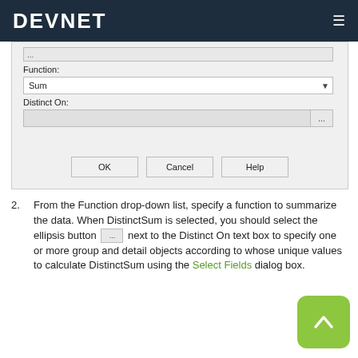DEVNET
[Figure (screenshot): Dialog box showing Function dropdown set to 'Sum', a Distinct On label with a text input field and ellipsis button, and OK, Cancel, Help buttons at the bottom.]
2. From the Function drop-down list, specify a function to summarize the data. When DistinctSum is selected, you should select the ellipsis button [...] next to the Distinct On text box to specify one or more group and detail objects according to whose unique values to calculate DistinctSum using the Select Fields dialog box.